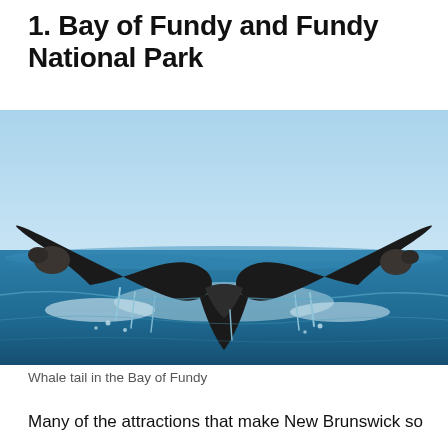1. Bay of Fundy and Fundy National Park
[Figure (photo): A whale tail emerging from the blue ocean water in the Bay of Fundy, with water droplets falling off the flukes against a clear blue sky.]
Whale tail in the Bay of Fundy
Many of the attractions that make New Brunswick so